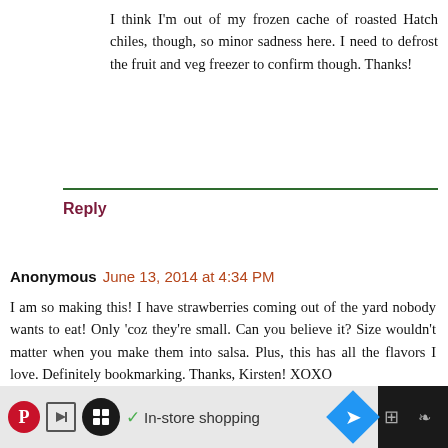I think I'm out of my frozen cache of roasted Hatch chiles, though, so minor sadness here. I need to defrost the fruit and veg freezer to confirm though. Thanks!
Reply
Anonymous June 13, 2014 at 4:34 PM
I am so making this! I have strawberries coming out of the yard nobody wants to eat! Only 'coz they're small. Can you believe it? Size wouldn't matter when you make them into salsa. Plus, this has all the flavors I love. Definitely bookmarking. Thanks, Kirsten! XOXO
Reply
▾ Replies
Kirsten  June 16, 2014 at 4:23 AM
[Figure (infographic): Advertisement bar at bottom with Pinterest icon, skip button, circular logo, checkmark, In-store shopping text, navigation diamond arrow, and dark right panel with additional icons]